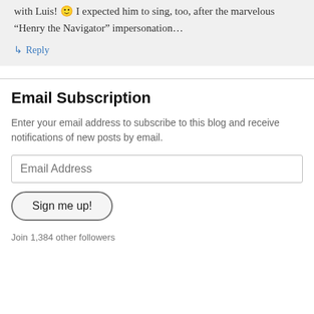with Luis! 🙂 I expected him to sing, too, after the marvelous “Henry the Navigator” impersonation…
↳ Reply
Email Subscription
Enter your email address to subscribe to this blog and receive notifications of new posts by email.
Email Address
Sign me up!
Join 1,384 other followers